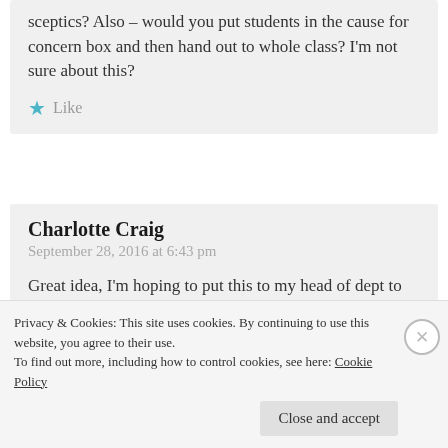sceptics? Also – would you put students in the cause for concern box and then hand out to whole class? I'm not sure about this?
Like
Charlotte Craig
September 28, 2016 at 6:43 pm
Great idea, I'm hoping to put this to my head of dept to see if we can trial? A bit nervous as we don't do anything like this but it makes so much sense… Any tips for selling it to sceptics?
Also – how do you get on if you have cause for
Privacy & Cookies: This site uses cookies. By continuing to use this website, you agree to their use.
To find out more, including how to control cookies, see here: Cookie Policy
Close and accept